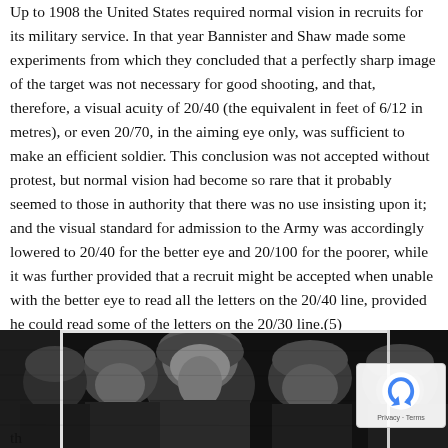Up to 1908 the United States required normal vision in recruits for its military service. In that year Bannister and Shaw made some experiments from which they concluded that a perfectly sharp image of the target was not necessary for good shooting, and that, therefore, a visual acuity of 20/40 (the equivalent in feet of 6/12 in metres), or even 20/70, in the aiming eye only, was sufficient to make an efficient soldier. This conclusion was not accepted without protest, but normal vision had become so rare that it probably seemed to those in authority that there was no use insisting upon it; and the visual standard for admission to the Army was accordingly lowered to 20/40 for the better eye and 20/100 for the poorer, while it was further provided that a recruit might be accepted when unable with the better eye to read all the letters on the 20/40 line, provided he could read some of the letters on the 20/30 line.(5)
[Figure (photo): Black and white photograph showing soldiers or military recruits in helmets, cropped at bottom of page]